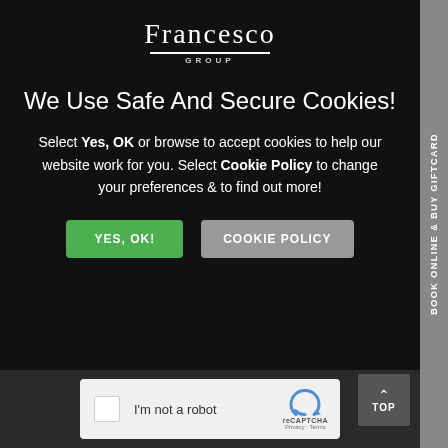[Figure (logo): Francesco Group logo: stylized serif text 'Francesco' with 'GROUP' in small caps below, separated by a horizontal line]
We Use Safe And Secure Cookies!
Select Yes, OK or browse to accept cookies to help our website work for you. Select Cookie Policy to change your preferences & to find out more!
YES, OK!   COOKIE POLICY (buttons)
[Figure (screenshot): reCAPTCHA widget: checkbox labeled 'I'm not a robot' with reCAPTCHA logo and 'Privacy - Terms' links]
BOOK ONLINE & BUY GIFTCARD (vertical side tab)
TOP (back to top button)